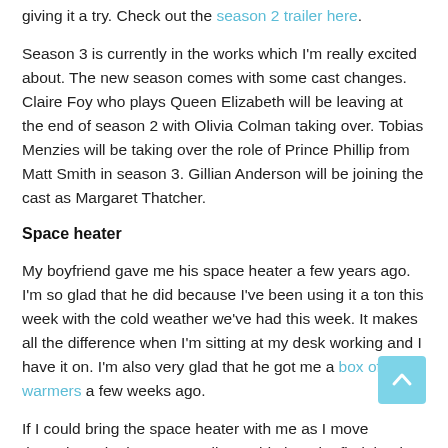giving it a try. Check out the season 2 trailer here.
Season 3 is currently in the works which I'm really excited about. The new season comes with some cast changes. Claire Foy who plays Queen Elizabeth will be leaving at the end of season 2 with Olivia Colman taking over. Tobias Menzies will be taking over the role of Prince Phillip from Matt Smith in season 3. Gillian Anderson will be joining the cast as Margaret Thatcher.
Space heater
My boyfriend gave me his space heater a few years ago. I'm so glad that he did because I've been using it a ton this week with the cold weather we've had this week. It makes all the difference when I'm sitting at my desk working and I have it on. I'm also very glad that he got me a box of hand warmers a few weeks ago.
If I could bring the space heater with me as I move throughout the house, I totally would, though I find that it